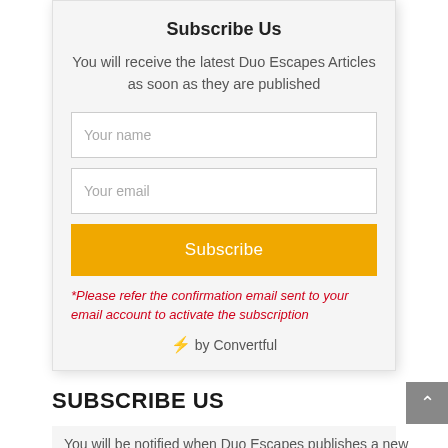Subscribe Us
You will receive the latest Duo Escapes Articles as soon as they are published
Your name
Your email
Subscribe
*Please refer the confirmation email sent to your email account to activate the subscription
⚡ by Convertful
SUBSCRIBE US
You will be notified when Duo Escapes publishes a new